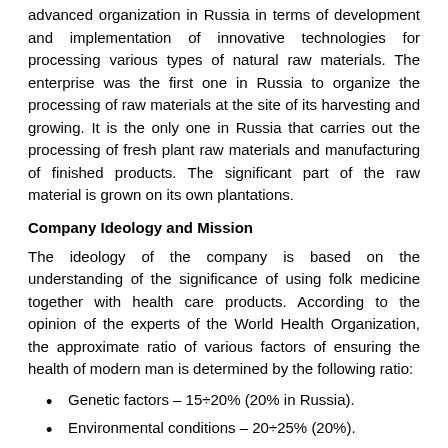advanced organization in Russia in terms of development and implementation of innovative technologies for processing various types of natural raw materials. The enterprise was the first one in Russia to organize the processing of raw materials at the site of its harvesting and growing. It is the only one in Russia that carries out the processing of fresh plant raw materials and manufacturing of finished products. The significant part of the raw material is grown on its own plantations.
Company Ideology and Mission
The ideology of the company is based on the understanding of the significance of using folk medicine together with health care products. According to the opinion of the experts of the World Health Organization, the approximate ratio of various factors of ensuring the health of modern man is determined by the following ratio:
Genetic factors – 15÷20% (20% in Russia).
Environmental conditions – 20÷25% (20%).
Medical provision – 10÷15% (7÷8%).
Living conditions and lifestyle – 50÷55% (52÷53%).
The costs of these health ensuring factors are inversely